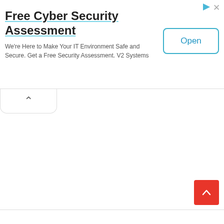[Figure (screenshot): Advertisement banner for Free Cyber Security Assessment by V2 Systems with an Open button]
Free Cyber Security Assessment
We're Here to Make Your IT Environment Safe and Secure. Get a Free Security Assessment. V2 Systems
TAGS: Agent Coulson   Agents of S.H.I.E.L.D.   Clark Gregg   joss whedon   TV Show